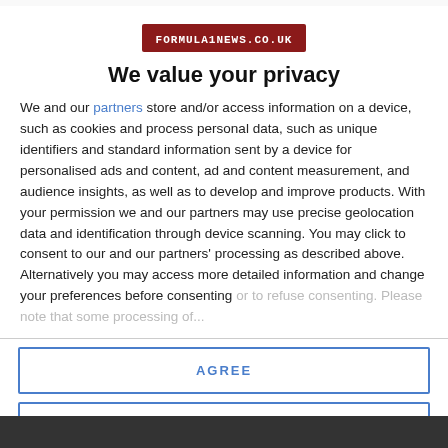[Figure (logo): FORMULA1NEWS.CO.UK logo in dark red/maroon box with white text]
We value your privacy
We and our partners store and/or access information on a device, such as cookies and process personal data, such as unique identifiers and standard information sent by a device for personalised ads and content, ad and content measurement, and audience insights, as well as to develop and improve products. With your permission we and our partners may use precise geolocation data and identification through device scanning. You may click to consent to our and our partners' processing as described above. Alternatively you may access more detailed information and change your preferences before consenting or to refuse consenting. Please note that some processing of...
AGREE
MORE OPTIONS